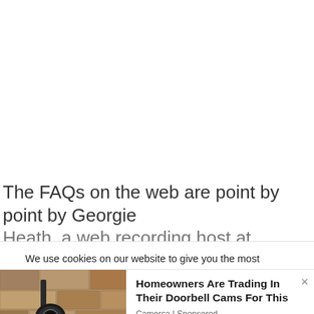The FAQs on the web are point by point by Georgie Heath, a web recording host at Women's Cricket
We use cookies on our website to give you the most relevant experience by remembering your preferences and repeat visits. By clicking "Accept All", you consent to the use of ALL the cookies. However, you may visit "Cookie Settings" to provide a controlled consent.
[Figure (photo): Photo of an outdoor wall-mounted security camera on a stone/brick wall]
Homeowners Are Trading In Their Doorbell Cams For This
Camerca | Sponsored